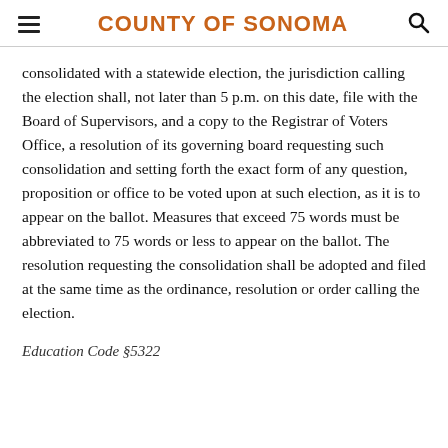COUNTY OF SONOMA
consolidated with a statewide election, the jurisdiction calling the election shall, not later than 5 p.m. on this date, file with the Board of Supervisors, and a copy to the Registrar of Voters Office, a resolution of its governing board requesting such consolidation and setting forth the exact form of any question, proposition or office to be voted upon at such election, as it is to appear on the ballot. Measures that exceed 75 words must be abbreviated to 75 words or less to appear on the ballot. The resolution requesting the consolidation shall be adopted and filed at the same time as the ordinance, resolution or order calling the election.
Education Code §5322